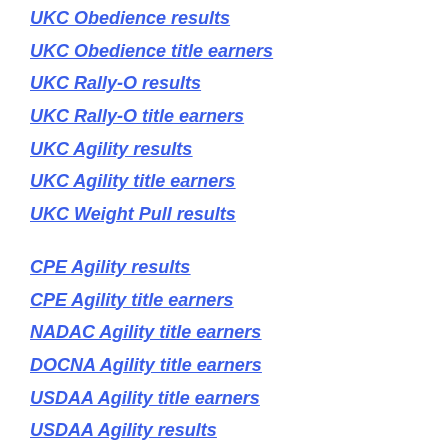UKC Obedience results
UKC Obedience title earners
UKC Rally-O results
UKC Rally-O title earners
UKC Agility results
UKC Agility title earners
UKC Weight Pull results
CPE Agility results
CPE Agility title earners
NADAC Agility title earners
DOCNA Agility title earners
USDAA Agility title earners
USDAA Agility results
Cynosport Rally results
Cynosport Rally title earners
Cynosport Rally rankings